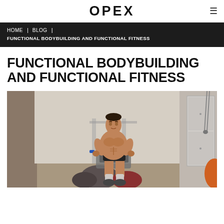OPEX
HOME | BLOG | FUNCTIONAL BODYBUILDING AND FUNCTIONAL FITNESS
FUNCTIONAL BODYBUILDING AND FUNCTIONAL FITNESS
[Figure (photo): A muscular shirtless man performing a gym exercise, leaning forward on equipment surrounded by medicine balls, in an indoor gym setting]